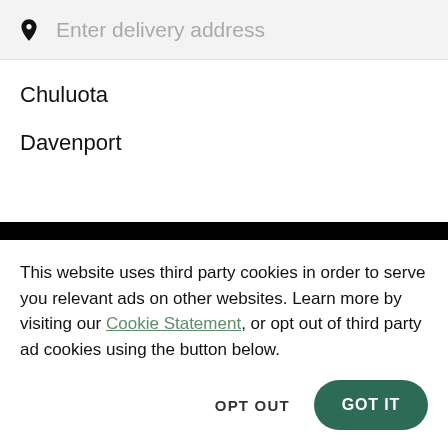Enter delivery address
Chuluota
Davenport
This website uses third party cookies in order to serve you relevant ads on other websites. Learn more by visiting our Cookie Statement, or opt out of third party ad cookies using the button below.
OPT OUT
GOT IT